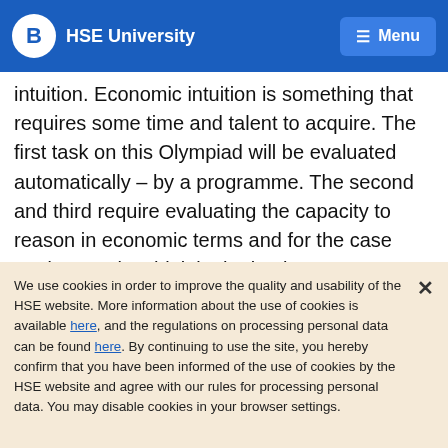HSE University  Menu
intuition. Economic intuition is something that requires some time and talent to acquire. The first task on this Olympiad will be evaluated automatically – by a programme. The second and third require evaluating the capacity to reason in economic terms and for the case study – to also think in the business perspective. So there is no single one correct answer. Maybe there are no the best solutions, but there are some that are better than others. So we will rank the solutions because we do not need to know what is the best, we
We use cookies in order to improve the quality and usability of the HSE website. More information about the use of cookies is available here, and the regulations on processing personal data can be found here. By continuing to use the site, you hereby confirm that you have been informed of the use of cookies by the HSE website and agree with our rules for processing personal data. You may disable cookies in your browser settings.